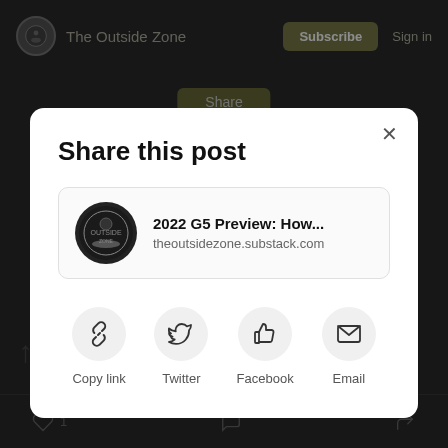The Outside Zone | Subscribe | Sign in
Share this post
2022 G5 Preview: How...
theoutsidezone.substack.com
Copy link
Twitter
Facebook
Email
1